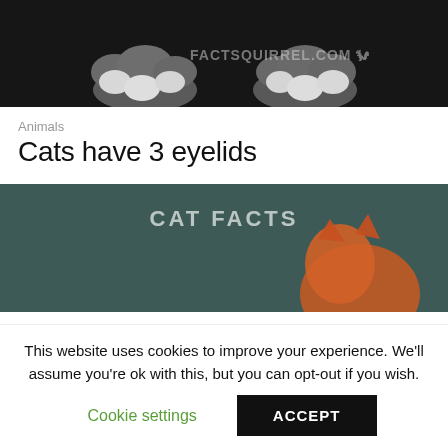[Figure (photo): Close-up photo of cat paws resting on a dark surface with watermark text FACTSQUIRREL.COM]
Animals
Cats have 3 eyelids
[Figure (photo): Dark teal background image with text CAT FACTS and an orange cat partially visible]
This website uses cookies to improve your experience. We'll assume you're ok with this, but you can opt-out if you wish.
Cookie settings
ACCEPT